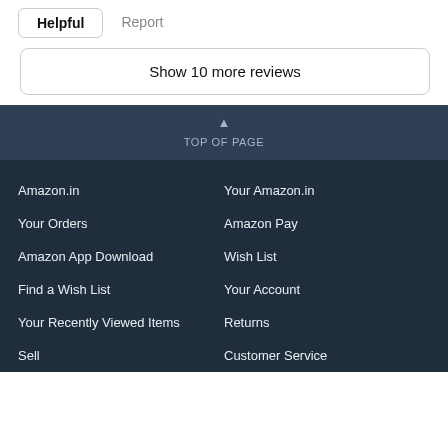Helpful | Report
Show 10 more reviews
TOP OF PAGE
Amazon.in
Your Amazon.in
Your Orders
Amazon Pay
Amazon App Download
Wish List
Find a Wish List
Your Account
Your Recently Viewed Items
Returns
Sell
Customer Service